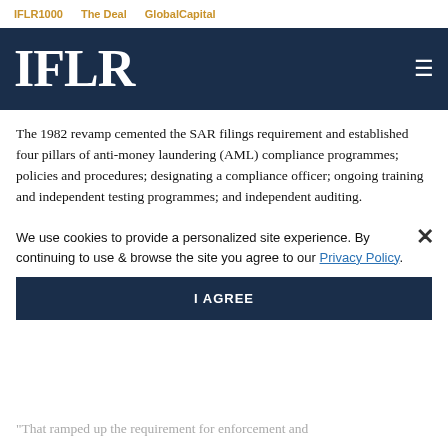IFLR1000   The Deal   GlobalCapital
IFLR
The 1982 revamp cemented the SAR filings requirement and established four pillars of anti-money laundering (AML) compliance programmes; policies and procedures; designating a compliance officer; ongoing training and independent testing programmes; and independent auditing.
The 1986 Act deemed money laundering a federal crime b... th... re... banks to have anti-mo... compliance procedures, in part an effort to "address what authorities saw as lax BSA enforcement...
We use cookies to provide a personalized site experience. By continuing to use & browse the site you agree to our Privacy Policy.
"That ramped up the requirement for enforcement and